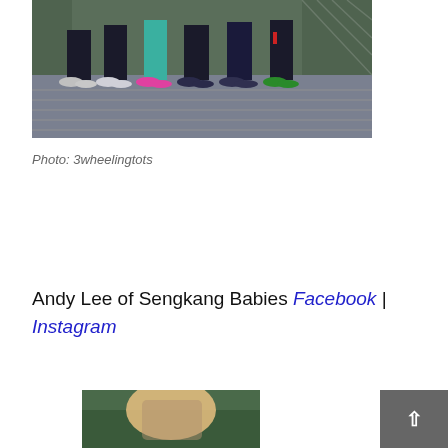[Figure (photo): Group photo showing legs and feet of several people standing on a wooden bridge, wearing athletic shoes and leggings, with green foliage background]
Photo: 3wheelingtots
Andy Lee of Sengkang Babies Facebook | Instagram
[Figure (photo): Partial photo at bottom of page showing outdoor scene]